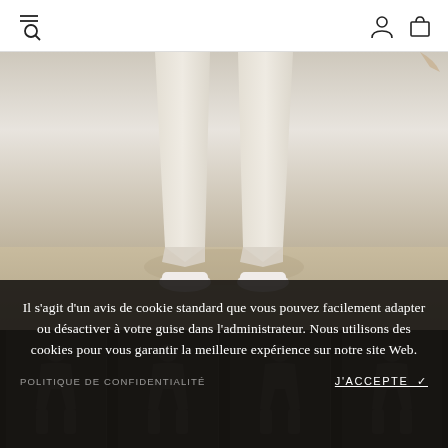[Figure (screenshot): Navigation header with hamburger+search icon on left and user/cart icons on right]
[Figure (photo): Lower body of a person wearing light beige/cream rolled-up chino trousers and white sneakers, standing against a pale wall on a light floor]
Il s'agit d'un avis de cookie standard que vous pouvez facilement adapter ou désactiver à votre guise dans l'administrateur. Nous utilisons des cookies pour vous garantir la meilleure expérience sur notre site Web.
POLITIQUE DE CONFIDENTIALITÉ
J'ACCEPTE ✓
[Figure (photo): Dark product thumbnail strip showing clothing items at the bottom of the page]